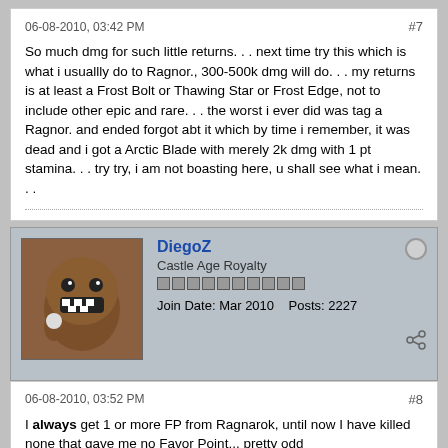06-08-2010, 03:42 PM
#7
So much dmg for such little returns. . . next time try this which is what i usuallly do to Ragnor., 300-500k dmg will do. . . my returns is at least a Frost Bolt or Thawing Star or Frost Edge, not to include other epic and rare. . . the worst i ever did was tag a Ragnor. and ended forgot abt it which by time i remember, it was dead and i got a Arctic Blade with merely 2k dmg with 1 pt stamina. . . try try, i am not boasting here, u shall see what i mean. . .
[Figure (photo): Avatar of DiegoZ showing a brown Domo plush toy]
DiegoZ
Castle Age Royalty
Join Date: Mar 2010   Posts: 2227
06-08-2010, 03:52 PM
#8
I always get 1 or more FP from Ragnarok, until now I have killed none that gave me no Favor Point... pretty odd
~'Zarkkast Meriowsteint'~
~'Corvinthoan Blackguard Prince'~